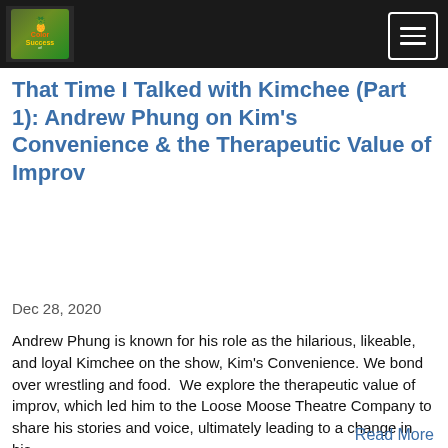Color of Success podcast logo and navigation menu
That Time I Talked with Kimchee (Part 1): Andrew Phung on Kim's Convenience & the Therapeutic Value of Improv
Dec 28, 2020
Andrew Phung is known for his role as the hilarious, likeable, and loyal Kimchee on the show, Kim's Convenience. We bond over wrestling and food.  We explore the therapeutic value of improv, which led him to the Loose Moose Theatre Company to share his stories and voice, ultimately leading to a change in his...
Read More